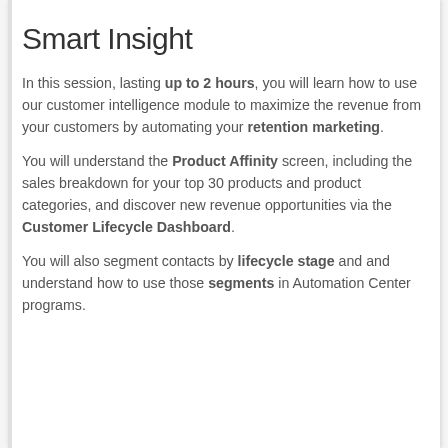Smart Insight
In this session, lasting up to 2 hours, you will learn how to use our customer intelligence module to maximize the revenue from your customers by automating your retention marketing.
You will understand the Product Affinity screen, including the sales breakdown for your top 30 products and product categories, and discover new revenue opportunities via the Customer Lifecycle Dashboard.
You will also segment contacts by lifecycle stage and and understand how to use those segments in Automation Center programs.